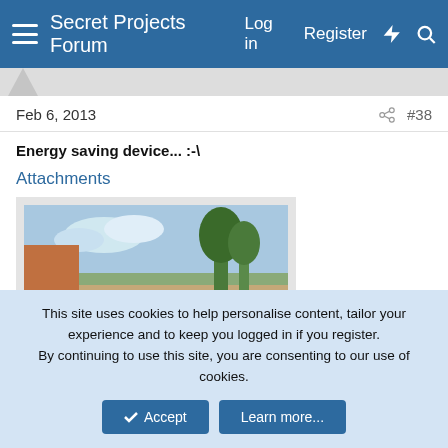Secret Projects Forum  Log in  Register
Feb 6, 2013  #38
Energy saving device... :-\
Attachments
[Figure (photo): Outdoor scene showing a rustic wood-burning stove or fire pit made from red/terracotta-colored cylindrical drums with metal grate, surrounded by logs, set against a dry landscape with trees and cloudy sky in the background.]
This site uses cookies to help personalise content, tailor your experience and to keep you logged in if you register.
By continuing to use this site, you are consenting to our use of cookies.